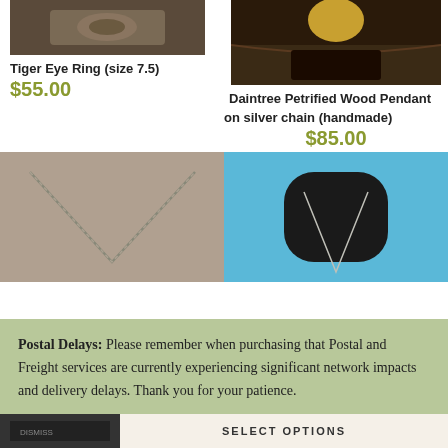[Figure (photo): Partial product photo of Tiger Eye Ring at top left]
Tiger Eye Ring (size 7.5)
[Figure (photo): Photo of person wearing Daintree Petrified Wood Pendant on silver chain on right side]
$55.00
Daintree Petrified Wood Pendant on silver chain (handmade)
$85.00
[Figure (photo): Close-up photo of silver chain necklace on fabric background]
[Figure (photo): Photo of chain necklace on black mannequin bust with blue background]
Postal Delays: Please remember when purchasing that Postal and Freight services are currently experiencing significant network impacts and delivery delays. Thank you for your patience.
SELECT OPTIONS